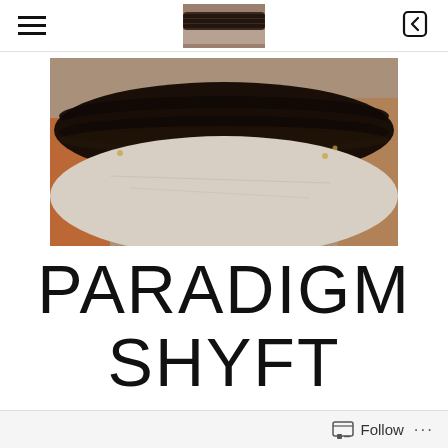hamburger menu | header thumbnail image | back icon
[Figure (photo): Close-up photo of a dark leather wallet or bag item resting on a white fabric surface, sepia/warm toned]
PARADIGM SHYFT
[Figure (photo): Partial view of a red-themed image at the bottom of the page, partially cut off]
Follow ...